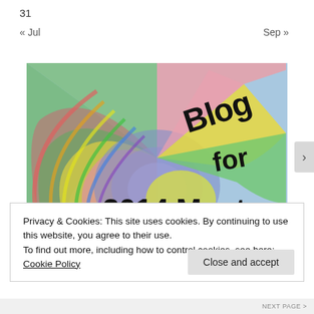31
« Jul    Sep »
[Figure (illustration): Colorful hand-drawn illustration with concentric swirling arcs in rainbow colors (green, yellow, pink, blue, red) forming a circular pattern. Overlaid text reads 'Blog for 2014 Mental' in bold black hand-lettered font on a light blue background with pastel sections.]
Privacy & Cookies: This site uses cookies. By continuing to use this website, you agree to their use.
To find out more, including how to control cookies, see here: Cookie Policy
Close and accept